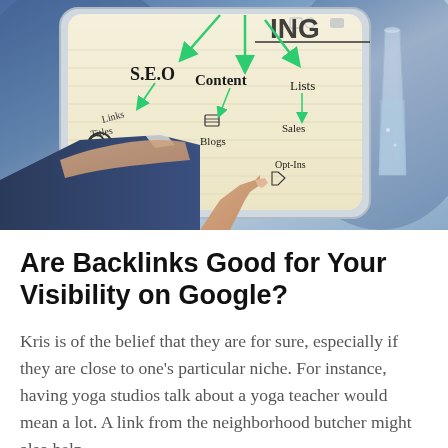[Figure (photo): A person's finger pointing at a tablet screen showing an SEO content mind-map diagram with green arrows connecting S.E.O to Content, Links, Titles, Blogs, Video, Lists, Sales, Opt-Ins. A glass of water is visible in the background.]
Are Backlinks Good for Your Visibility on Google?
Kris is of the belief that they are for sure, especially if they are close to one's particular niche. For instance, having yoga studios talk about a yoga teacher would mean a lot. A link from the neighborhood butcher might also help